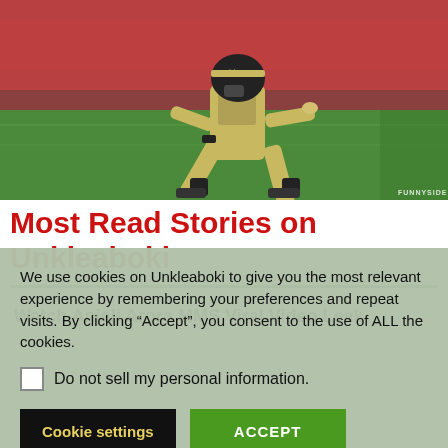[Figure (photo): Photo of an American football player in a New Orleans Saints uniform (black and gold) in a lunging/stretching pose on a football field with red-clad crowd in the background. Watermark 'FUNNYSIDE' in bottom right.]
Most Read Stories on Unkleaboki
Watch Anjali Arora MMS Viral Video Leak
We use cookies on Unkleaboki to give you the most relevant experience by remembering your preferences and repeat visits. By clicking “Accept”, you consent to the use of ALL the cookies.
Do not sell my personal information.
Cookie settings
ACCEPT